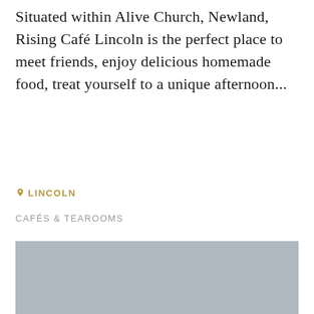Situated within Alive Church, Newland, Rising Café Lincoln is the perfect place to meet friends, enjoy delicious homemade food, treat yourself to a unique afternoon...
📍 LINCOLN
CAFÉS & TEAROOMS
[Figure (photo): A large grey placeholder image representing a photo of Rising Café Lincoln]